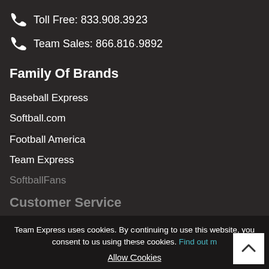Toll Free: 833.908.3923
Team Sales: 866.816.9892
Family Of Brands
Baseball Express
Softball.com
Football America
Team Express
SoftballFans
Customer Service
Team Express uses cookies. By continuing to use this website, you consent to us using these cookies. Find out more
Allow Cookies